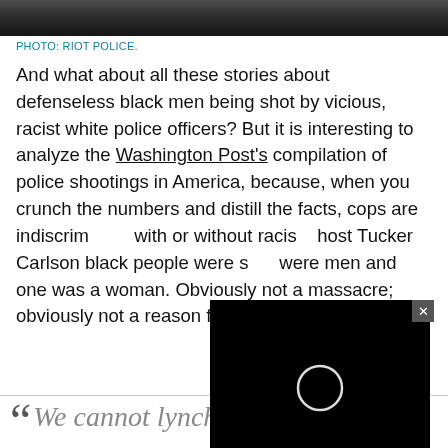[Figure (photo): Black and white photo strip of riot police at the top of the page]
PHOTO: RIOT POLICE.
And what about all these stories about defenseless black men being shot by vicious, racist white police officers? But it is interesting to analyze the Washington Post's compilation of police shootings in America, because, when you crunch the numbers and distill the facts, cops are indiscriminately [text obscured by video overlay] with or without racis[m — Tucker Carlson host Tucker Carlson] black people were s[hot — were men and one was a woman.] were men and one was a woman. Obviously not a massacre; obviously not a reason for a revolution.
[Figure (screenshot): Black video overlay box with a white circular loading spinner icon and an X close button in top right]
“We cannot lynch those